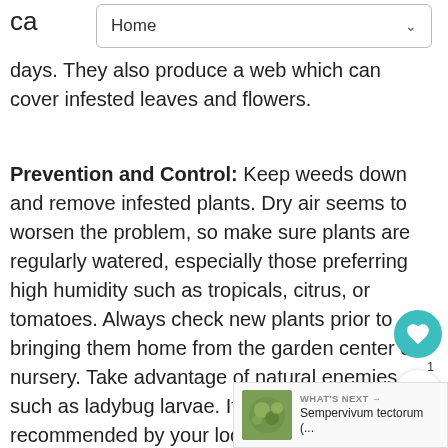ca
Home
days. They also produce a web which can cover infested leaves and flowers.
Prevention and Control: Keep weeds down and remove infested plants. Dry air seems to worsen the problem, so make sure plants are regularly watered, especially those preferring high humidity such as tropicals, citrus, or tomatoes. Always check new plants prior to bringing them home from the garden center or nursery. Take advantage of natural enemies such as ladybug larvae. If a miticide is recommended by your local garden professional or county Cooperative Extension office, read and follow all label directions.
[Figure (other): Circular teal heart/favorite button overlay]
[Figure (other): Share button overlay]
[Figure (other): What's Next card showing Sempervivum tectorum thumbnail with label and arrow]